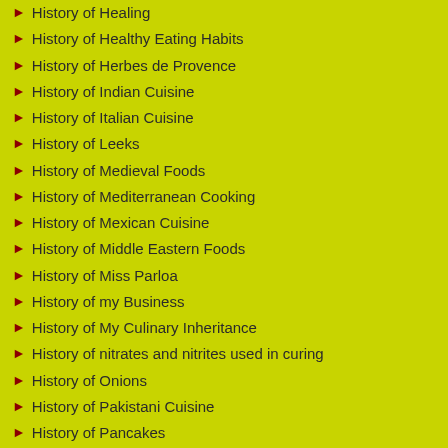History of Healing
History of Healthy Eating Habits
History of Herbes de Provence
History of Indian Cuisine
History of Italian Cuisine
History of Leeks
History of Medieval Foods
History of Mediterranean Cooking
History of Mexican Cuisine
History of Middle Eastern Foods
History of Miss Parloa
History of my Business
History of My Culinary Inheritance
History of nitrates and nitrites used in curing
History of Onions
History of Pakistani Cuisine
History of Pancakes
History of Pasta
History of Peruvian Foods
History of Quinoa